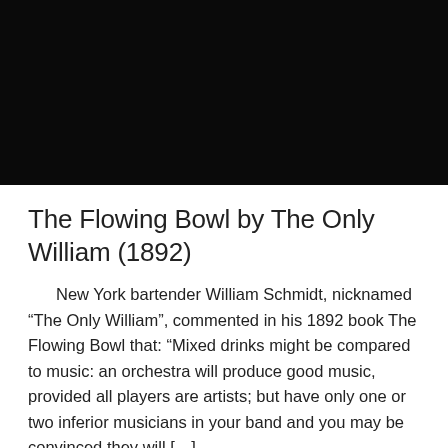[Figure (photo): A dark/black photograph, nearly entirely black with very little visible detail.]
The Flowing Bowl by The Only William (1892)
New York bartender William Schmidt, nicknamed “The Only William”, commented in his 1892 book The Flowing Bowl that: “Mixed drinks might be compared to music: an orchestra will produce good music, provided all players are artists; but have only one or two inferior musicians in your band and you may be convinced they will […]